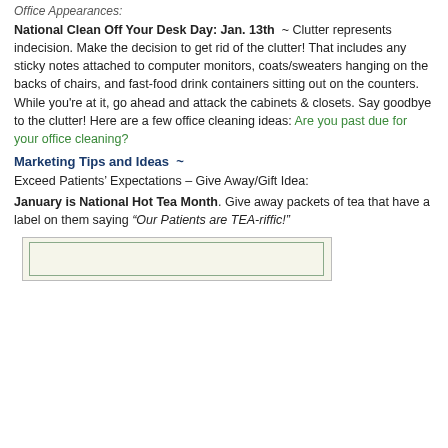Office Appearance:
National Clean Off Your Desk Day: Jan. 13th ~ Clutter represents indecision. Make the decision to get rid of the clutter! That includes any sticky notes attached to computer monitors, coats/sweaters hanging on the backs of chairs, and fast-food drink containers sitting out on the counters. While you're at it, go ahead and attack the cabinets & closets. Say goodbye to the clutter! Here are a few office cleaning ideas: Are you past due for your office cleaning?
Marketing Tips and Ideas ~
Exceed Patients' Expectations – Give Away/Gift Idea:
January is National Hot Tea Month. Give away packets of tea that have a label on them saying "Our Patients are TEA-riffic!"
[Figure (other): Decorative bordered box with outer light border and inner green border on pale yellow-green background]